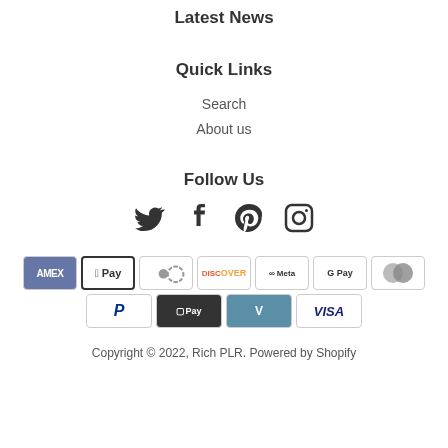Latest News
Quick Links
Search
About us
Follow Us
[Figure (infographic): Social media icons: Twitter, Facebook, Pinterest, Instagram]
[Figure (infographic): Payment method badges: AMEX, Apple Pay, Diners Club, Discover, Meta Pay, Google Pay, Mastercard, PayPal, Shop Pay, Venmo, Visa]
Copyright © 2022, Rich PLR. Powered by Shopify